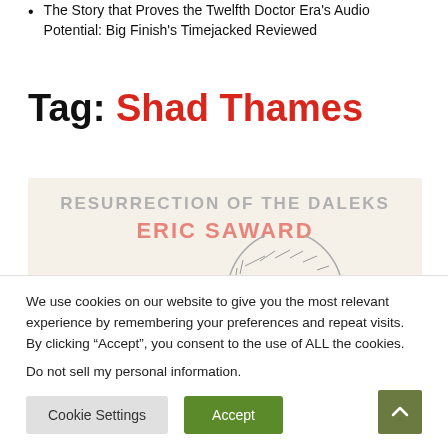The Story that Proves the Twelfth Doctor Era's Audio Potential: Big Finish's Timejacked Reviewed
Tag: Shad Thames
[Figure (illustration): Book cover for 'Resurrection of the Daleks' by Eric Saward, showing stylized text and partial illustration of a Dalek and a figure]
We use cookies on our website to give you the most relevant experience by remembering your preferences and repeat visits. By clicking “Accept”, you consent to the use of ALL the cookies.
Do not sell my personal information.